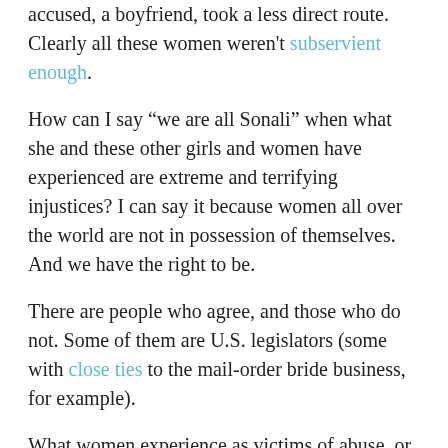accused, a boyfriend, took a less direct route. Clearly all these women weren't subservient enough.
How can I say “we are all Sonali” when what she and these other girls and women have experienced are extreme and terrifying injustices? I can say it because women all over the world are not in possession of themselves. And we have the right to be.
There are people who agree, and those who do not. Some of them are U.S. legislators (some with close ties to the mail-order bride business, for example).
What women experience as victims of abuse, or when they’re seized and forced to undergo surgery against their wills, or even when they hear a vice-presidential candidate say publicly, without widespread and uniform condemnation, that rape is just another “method of conception” is...